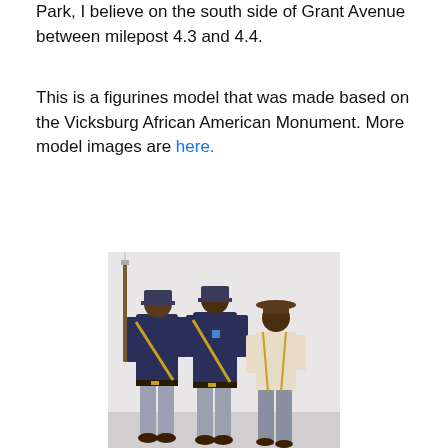Park, I believe on the south side of Grant Avenue between milepost 4.3 and 4.4.
This is a figurines model that was made based on the Vicksburg African American Monument. More model images are here.
[Figure (photo): A photograph of three figurine models depicting the Vicksburg African American Monument. The left figure is a Union soldier in dark blue uniform holding a rifle with bayonet. The center figure is another Union soldier in dark blue uniform. The right figure is a civilian in lighter clothing and a wide-brimmed hat, leaning on the soldier.]